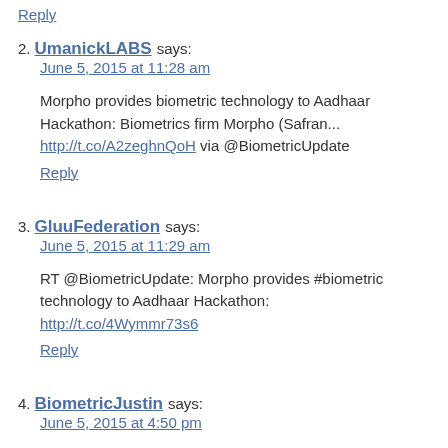Reply (top link)
2. UmanickLABS says: June 5, 2015 at 11:28 am
Morpho provides biometric technology to Aadhaar Hackathon: Biometrics firm Morpho (Safran... http://t.co/A2zeghnQoH via @BiometricUpdate
Reply
3. GluuFederation says: June 5, 2015 at 11:29 am
RT @BiometricUpdate: Morpho provides #biometric technology to Aadhaar Hackathon: http://t.co/4Wymmr73s6
Reply
4. BiometricJustin says: June 5, 2015 at 4:50 pm
RT @BiometricUpdate: Morpho provides #biometric